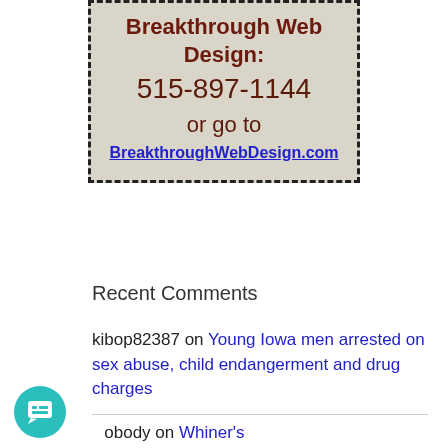[Figure (other): Advertisement box with dashed border and beige background for Breakthrough Web Design, showing phone number 515-897-1144 and website BreakthroughWebDesign.com]
Recent Comments
kibop82387 on Young Iowa men arrested on sex abuse, child endangerment and drug charges
Nobody on Whiner's